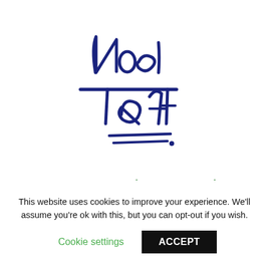[Figure (illustration): Handwritten signature in blue ink reading 'Noel Taft' with stylized cursive lettering and underline strokes]
New Greetings Cards
This website uses cookies to improve your experience. We'll assume you're ok with this, but you can opt-out if you wish.
Cookie settings   ACCEPT